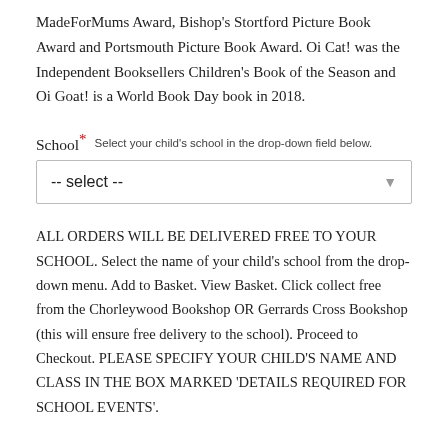MadeForMums Award, Bishop's Stortford Picture Book Award and Portsmouth Picture Book Award. Oi Cat! was the Independent Booksellers Children's Book of the Season and Oi Goat! is a World Book Day book in 2018.
School* Select your child's school in the drop-down field below.
-- select --
ALL ORDERS WILL BE DELIVERED FREE TO YOUR SCHOOL. Select the name of your child's school from the drop-down menu. Add to Basket. View Basket. Click collect free from the Chorleywood Bookshop OR Gerrards Cross Bookshop (this will ensure free delivery to the school). Proceed to Checkout. PLEASE SPECIFY YOUR CHILD'S NAME AND CLASS IN THE BOX MARKED 'DETAILS REQUIRED FOR SCHOOL EVENTS'.